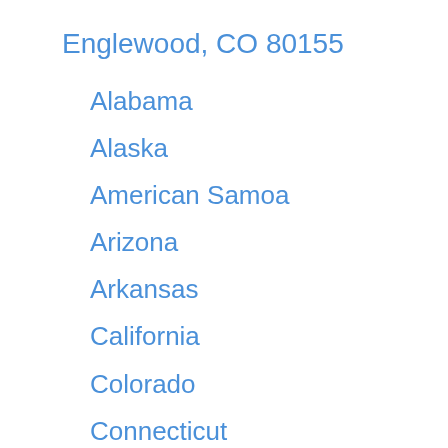Englewood, CO 80155
Alabama
Alaska
American Samoa
Arizona
Arkansas
California
Colorado
Connecticut
Delaware
District of Columbia
Federated States of Micronesia